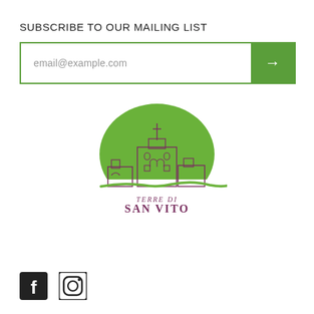SUBSCRIBE TO OUR MAILING LIST
email@example.com
[Figure (logo): Terre di San Vito logo: green semicircle with illustrated building/castle outline, text 'TERRE DI SAN VITO' in dark purple below]
[Figure (illustration): Facebook and Instagram social media icons in black square/circle style]